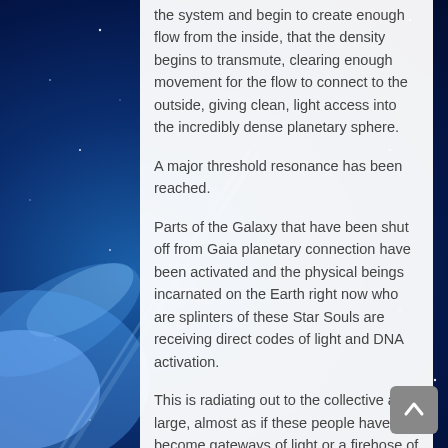the system and begin to create enough flow from the inside, that the density begins to transmute, clearing enough movement for the flow to connect to the outside, giving clean, light access into the incredibly dense planetary sphere.
A major threshold resonance has been reached.
Parts of the Galaxy that have been shut off from Gaia planetary connection have been activated and the physical beings incarnated on the Earth right now who are splinters of these Star Souls are receiving direct codes of light and DNA activation.
This is radiating out to the collective at large, almost as if these people have become gateways of light or a firehose of Galactic understanding, filling the planet with resonance.
Many of the Suns that have not splintered their